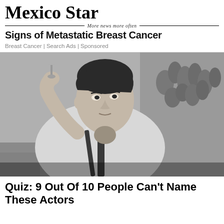Mexico Star — More news more often
Signs of Metastatic Breast Cancer
Breast Cancer | Search Ads | Sponsored
[Figure (photo): Black and white vintage photo of a young man in a white dress shirt with suspenders, holding a trophy or glass object up with one hand, seated in a relaxed pose with flowers visible in the background.]
Quiz: 9 Out Of 10 People Can't Name These Actors